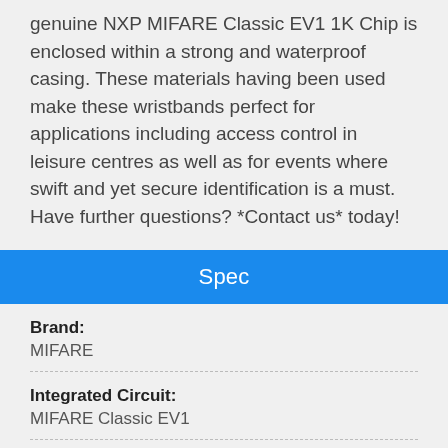genuine NXP MIFARE Classic EV1 1K Chip is enclosed within a strong and waterproof casing. These materials having been used make these wristbands perfect for applications including access control in leisure centres as well as for events where swift and yet secure identification is a must. Have further questions? *Contact us* today!
Spec
| Field | Value |
| --- | --- |
| Brand: | MIFARE |
| Integrated Circuit: | MIFARE Classic EV1 |
| Frequency: | 13.56 MHz |